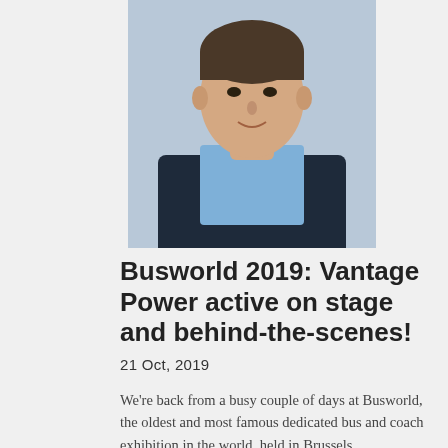[Figure (photo): Headshot of a man in a light blue shirt and dark blazer, photographed outdoors]
Busworld 2019: Vantage Power active on stage and behind-the-scenes!
21 Oct, 2019
We're back from a busy couple of days at Busworld, the oldest and most famous dedicated bus and coach exhibition in the world, held in Brussels.
READ MORE